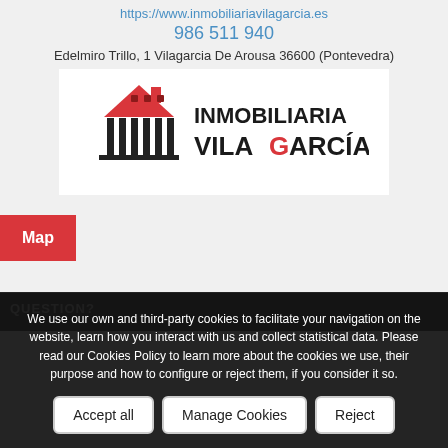https://www.inmobiliariavilagarcia.es
986 511 940
Edelmiro Trillo, 1 Vilagarcia De Arousa 36600 (Pontevedra)
[Figure (logo): Inmobiliaria Vilagarcía logo with a house icon and the text INMOBILIARIA VILAGARCÍA]
Map
We use our own and third-party cookies to facilitate your navigation on the website, learn how you interact with us and collect statistical data. Please read our Cookies Policy to learn more about the cookies we use, their purpose and how to configure or reject them, if you consider it so.
Accept all
Manage Cookies
Reject
QUESTION?